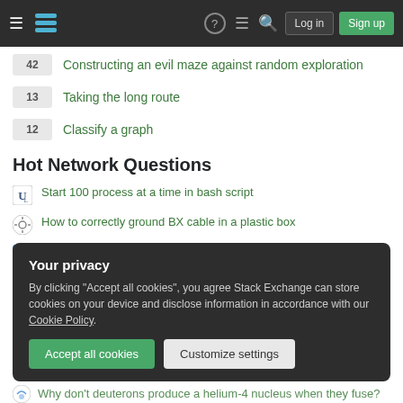Stack Exchange — Log in | Sign up
42  Constructing an evil maze against random exploration
13  Taking the long route
12  Classify a graph
Hot Network Questions
Start 100 process at a time in bash script
How to correctly ground BX cable in a plastic box
How can I deal with a lawyer who is ignoring the real client in favor of the technical client?
Your privacy
By clicking "Accept all cookies", you agree Stack Exchange can store cookies on your device and disclose information in accordance with our Cookie Policy.
Why don't deuterons produce a helium-4 nucleus when they fuse?